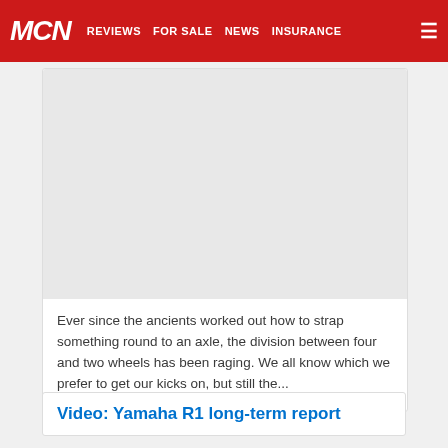MCN | REVIEWS | FOR SALE | NEWS | INSURANCE
[Figure (photo): Gray placeholder image area for an article]
Ever since the ancients worked out how to strap something round to an axle, the division between four and two wheels has been raging. We all know which we prefer to get our kicks on, but still the...
Video: Yamaha R1 long-term report